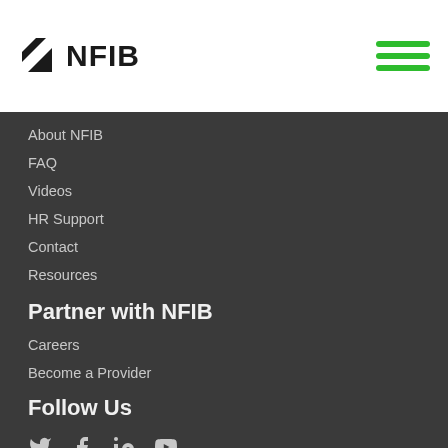[Figure (logo): NFIB logo with black triangle/flag icon and bold NFIB text]
About NFIB
FAQ
Videos
HR Support
Contact
Resources
Partner with NFIB
Careers
Become a Provider
Follow Us
[Figure (illustration): Social media icons: Twitter, Facebook, LinkedIn, YouTube]
Stay Informed With NFIB